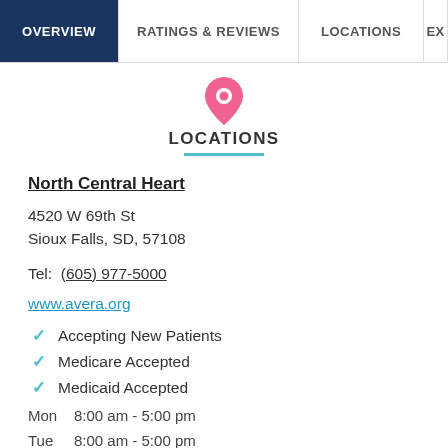OVERVIEW | RATINGS & REVIEWS | LOCATIONS | EX
LOCATIONS
North Central Heart
4520 W 69th St
Sioux Falls, SD, 57108
Tel:  (605) 977-5000
www.avera.org
Accepting New Patients
Medicare Accepted
Medicaid Accepted
Mon  8:00 am - 5:00 pm
Tue   8:00 am - 5:00 pm
Wed  8:00 am - 5:00 pm